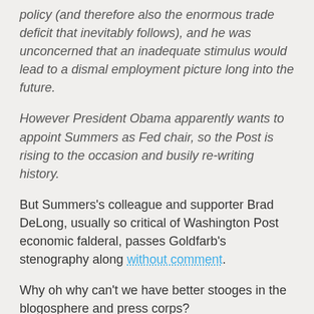policy (and therefore also the enormous trade deficit that inevitably follows), and he was unconcerned that an inadequate stimulus would lead to a dismal employment picture long into the future.
However President Obama apparently wants to appoint Summers as Fed chair, so the Post is rising to the occasion and busily re-writing history.
But Summers’s colleague and supporter Brad DeLong, usually so critical of Washington Post economic falderal, passes Goldfarb’s stenography along without comment.
Why oh why can’t we have better stooges in the blogosphere and press corps?
Cross-posted from Rugged Egalitarianism
Follow @DanMKervick